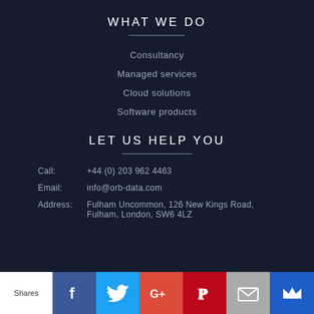WHAT WE DO
Consultancy
Managed services
Cloud solutions
Software products
LET US HELP YOU
Call:   +44 (0) 203 962 4463
Email:   info@orb-data.com
Address:   Fulham Uncommon, 126 New Kings Road, Fulham, London, SW6 4LZ
[Figure (infographic): Social sharing bar with icons for Facebook, Twitter, Google+, Pinterest, Email, and a crown/bookmark icon. Shows 'Shares' label on white background.]